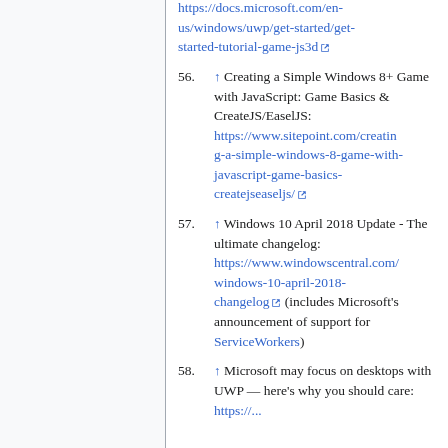https://docs.microsoft.com/en-us/windows/uwp/get-started/get-started-tutorial-game-js3d [external link]
56. ↑ Creating a Simple Windows 8+ Game with JavaScript: Game Basics & CreateJS/EaselJS: https://www.sitepoint.com/creating-a-simple-windows-8-game-with-javascript-game-basics-createjseaseljs/ [external link]
57. ↑ Windows 10 April 2018 Update - The ultimate changelog: https://www.windowscentral.com/windows-10-april-2018-changelog [external link] (includes Microsoft's announcement of support for ServiceWorkers)
58. ↑ Microsoft may focus on desktops with UWP — here's why you should care: https://... [external link]